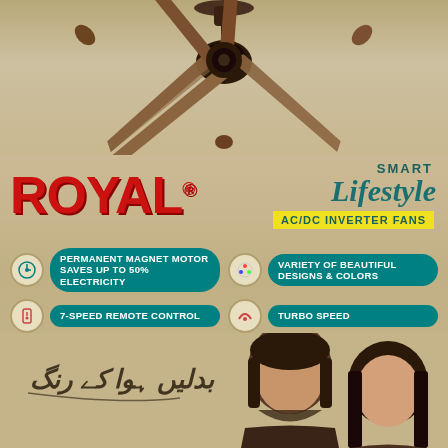[Figure (photo): Ceiling fan with brown/walnut blades viewed from below, mounted on beige/tan ceiling background]
[Figure (logo): ROYAL brand logo in bold red letters]
SMART Lifestyle AC/DC INVERTER FANS
PERMANENT MAGNET MOTOR SAVES UP TO 50% ELECTRICITY
VARIETY OF BEAUTIFUL DESIGNS & COLORS
7-SPEED REMOTE CONTROL
TURBO SPEED
NO DIMMER REQUIRED
NOISELESS PERFORMANCE
[Figure (photo): Man and woman models at the bottom of the advertisement, Urdu script text on the left reading 'Badlein Hawa ke Rang']